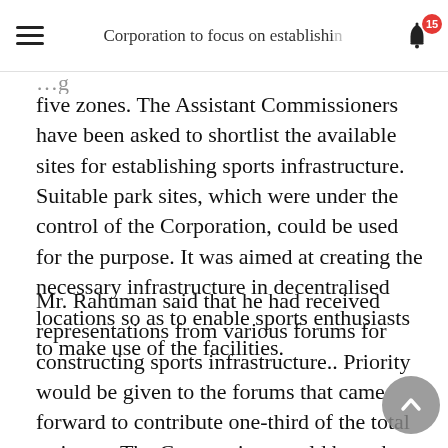Corporation to focus on establishi…
five zones. The Assistant Commissioners have been asked to shortlist the available sites for establishing sports infrastructure. Suitable park sites, which were under the control of the Corporation, could be used for the purpose. It was aimed at creating the necessary infrastructure in decentralised locations so as to enable sports enthusiasts to make use of the facilities.
Mr. Rahuman said that he had received representations from various forums for constructing sports infrastructure.. Priority would be given to the forums that came forward to contribute one-third of the total estimate. The Corporation would bear the remaining two-third of the estimate. If needed the Corporation